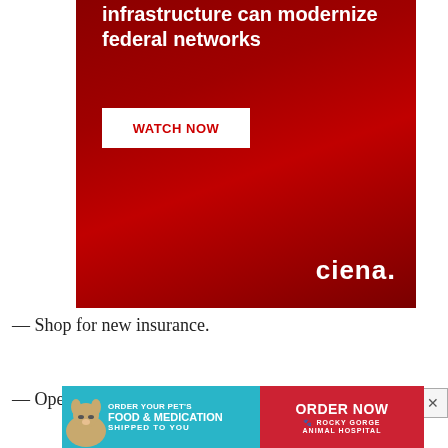[Figure (illustration): Red advertisement banner for Ciena with text 'infrastructure can modernize federal networks', a white 'WATCH NOW' button in red text, and the Ciena logo in white at bottom right.]
— Shop for new insurance.
— Open a health savings account.
[Figure (illustration): Advertisement banner for Rocky Gorge Animal Hospital: teal background with dog image, text 'ORDER YOUR PET'S FOOD & MEDICATION SHIPPED TO YOU', and a red 'ORDER NOW' button with Rocky Gorge Animal Hospital logo.]